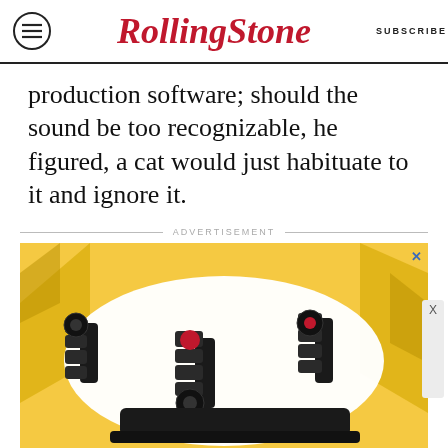RollingStone | SUBSCRIBE
production software; should the sound be too recognizable, he figured, a cat would just habituate to it and ignore it.
ADVERTISEMENT
[Figure (photo): Advertisement showing adjustable dumbbells on a yellow background with a close button (X) in the top right corner.]
ADJUSTABLE DUMBBELLS SPY TESTED & REVIEWED